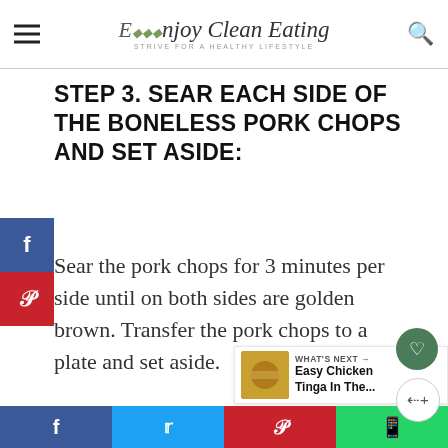Enjoy Clean Eating — Strive for a Healthy Lifestyle
STEP 3. SEAR EACH SIDE OF THE BONELESS PORK CHOPS AND SET ASIDE:
Sear the pork chops for 3 minutes per side until on both sides are golden brown. Transfer the pork chops to a plate and set aside.
WHAT'S NEXT → Easy Chicken Tinga In The...